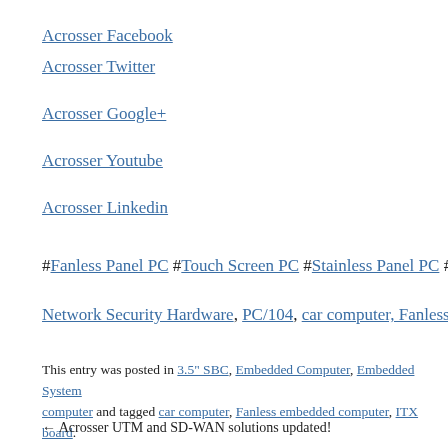Acrosser Facebook
Acrosser Twitter
Acrosser Google+
Acrosser Youtube
Acrosser Linkedin
#Fanless Panel PC #Touch Screen PC #Stainless Panel PC #Pan...
Network Security Hardware, PC/104, car computer, Fanless Em...
This entry was posted in 3.5" SBC, Embedded Computer, Embedded System... computer and tagged car computer, Fanless embedded computer, ITX board... Bookmark the permalink.
← Acrosser UTM and SD-WAN solutions updated!